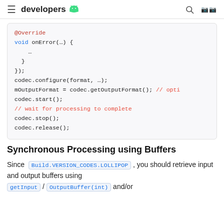developers
[Figure (screenshot): Code block showing Java/Android MediaCodec usage with @Override annotation, onError method, codec.configure, mOutputFormat, codec.start, wait for processing comment, codec.stop, codec.release]
Synchronous Processing using Buffers
Since Build.VERSION_CODES.LOLLIPOP , you should retrieve input and output buffers using getInput / OutputBuffer(int) and/or